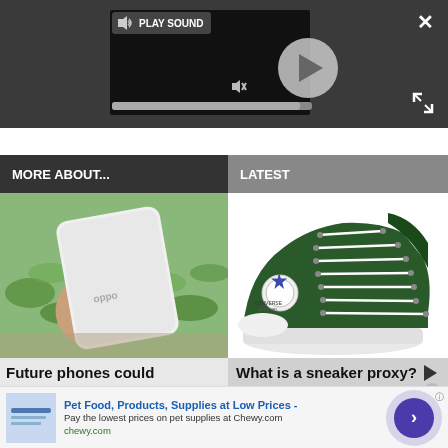[Figure (screenshot): Video player with play sound button, play button circle, mute icon, and progress bar on dark background. Close (X) and expand icons visible.]
MORE ABOUT...
LATEST
[Figure (photo): Hand holding a white OPPO smartphone against green leafy background]
Future phones could
[Figure (photo): Dark green Converse high-top sneaker with white laces on white background]
What is a sneaker proxy? ▶
[Figure (infographic): Advertisement for Chewy.com: Pet Food, Products, Supplies at Low Prices. Pay the lowest prices on pet supplies at Chewy.com. chewy.com. With purple circle button with right arrow.]